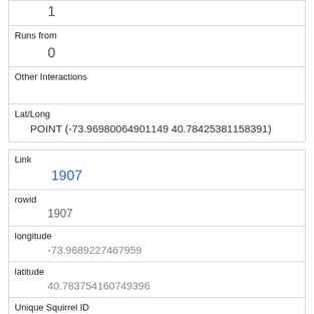| 1 |
| Runs from | 0 |
| Other Interactions |  |
| Lat/Long | POINT (-73.96980064901149 40.78425381158391) |
| Link | 1907 |
| rowid | 1907 |
| longitude | -73.9689227467959 |
| latitude | 40.783754160749396 |
| Unique Squirrel ID | 21B-AM-1019-03 |
| Hectare | 21B |
| Shift |  |